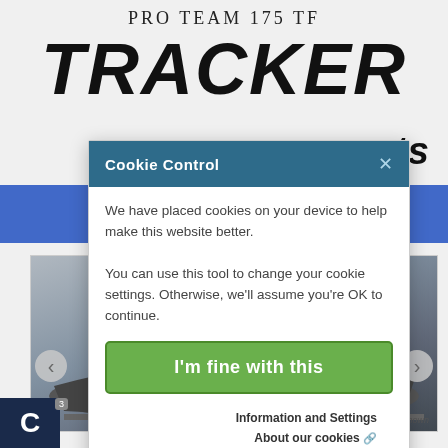PRO TEAM 175 TF
[Figure (logo): TRACKER boats logo in large bold italic black text]
[Figure (photo): Tracker bass boat on trailer, two seats visible, Mercury outboard motor, previous model year shown]
Cookie Control
We have placed cookies on your device to help make this website better.

You can use this tool to change your cookie settings. Otherwise, we'll assume you're OK to continue.
I'm fine with this
Information and Settings
About our cookies
Previous model year shown